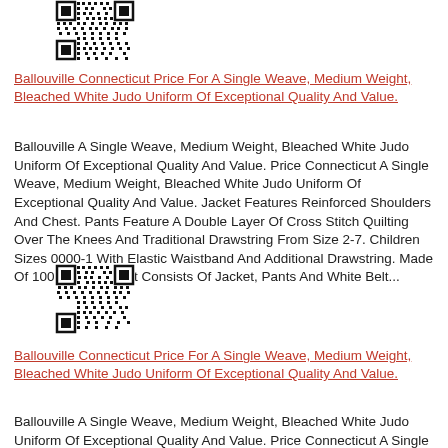[Figure (other): QR code (top)]
Ballouville Connecticut Price For A Single Weave, Medium Weight, Bleached White Judo Uniform Of Exceptional Quality And Value.
Ballouville A Single Weave, Medium Weight, Bleached White Judo Uniform Of Exceptional Quality And Value. Price Connecticut A Single Weave, Medium Weight, Bleached White Judo Uniform Of Exceptional Quality And Value. Jacket Features Reinforced Shoulders And Chest. Pants Feature A Double Layer Of Cross Stitch Quilting Over The Knees And Traditional Drawstring From Size 2-7. Children Sizes 0000-1 With Elastic Waistband And Additional Drawstring. Made Of 100% Cotton. Set Consists Of Jacket, Pants And White Belt...
[Figure (other): QR code (bottom)]
Ballouville Connecticut Price For A Single Weave, Medium Weight, Bleached White Judo Uniform Of Exceptional Quality And Value.
Ballouville A Single Weave, Medium Weight, Bleached White Judo Uniform Of Exceptional Quality And Value. Price Connecticut A Single Weave, Medium Weight, Bleached White Judo Uniform Of Exceptional Quality And Value. Jacket Features Reinforced Shoulders And Chest. Pants Feature A Double Layer...